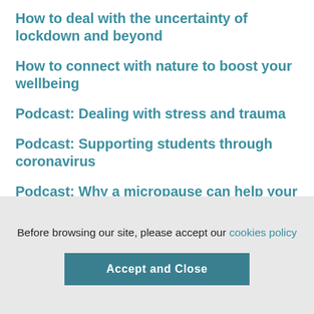How to deal with the uncertainty of lockdown and beyond
How to connect with nature to boost your wellbeing
Podcast: Dealing with stress and trauma
Podcast: Supporting students through coronavirus
Podcast: Why a micropause can help your mental health today
Before browsing our site, please accept our cookies policy
Accept and Close